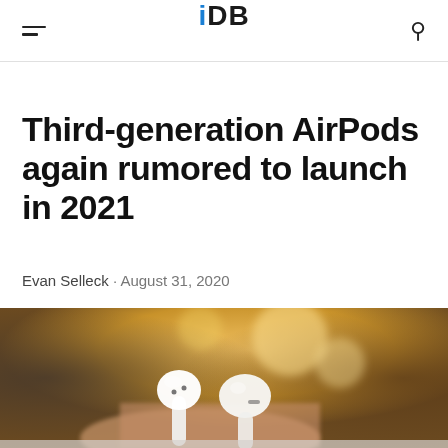iDB
Third-generation AirPods again rumored to launch in 2021
Evan Selleck · August 31, 2020
[Figure (photo): Close-up photo of white AirPods being held, with a blurred warm background]